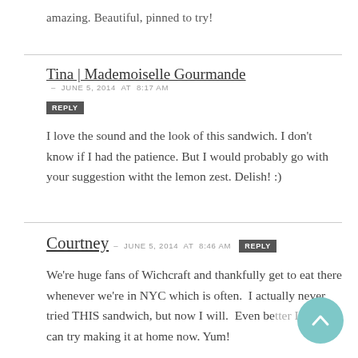amazing. Beautiful, pinned to try!
Tina | Mademoiselle Gourmande – JUNE 5, 2014 at 8:17 AM
REPLY

I love the sound and the look of this sandwich. I don't know if I had the patience. But I would probably go with your suggestion witht the lemon zest. Delish! :)
Courtney – JUNE 5, 2014 at 8:46 AM  REPLY

We're huge fans of Wichcraft and thankfully get to eat there whenever we're in NYC which is often.  I actually never tried THIS sandwich, but now I will.  Even better I can try making it at home now. Yum!